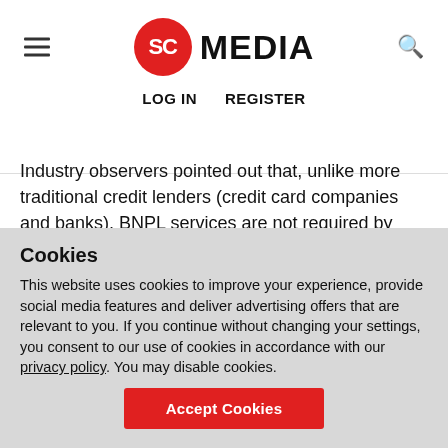SC MEDIA — LOG IN   REGISTER
Industry observers pointed out that, unlike more traditional credit lenders (credit card companies and banks), BNPL services are not required by regulation to carry out credit reviews on their applicants, which allows bad actors to set up fraudulent accounts, (which they would close immediately after receiving their goods and before paying off what they owe) or impersonate legitimate customers all the more easily.
Cookies
This website uses cookies to improve your experience, provide social media features and deliver advertising offers that are relevant to you. If you continue without changing your settings, you consent to our use of cookies in accordance with our privacy policy. You may disable cookies.